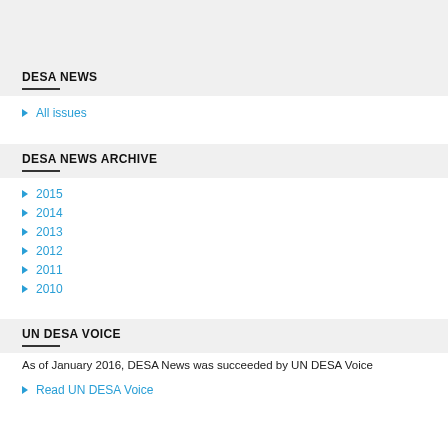DESA NEWS
All issues
DESA NEWS ARCHIVE
2015
2014
2013
2012
2011
2010
UN DESA VOICE
As of January 2016, DESA News was succeeded by UN DESA Voice
Read UN DESA Voice